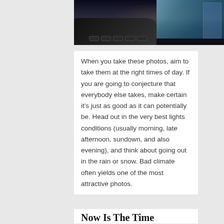[Figure (photo): Interior view from inside a vehicle showing a dark dashboard with buttons and a city building visible through the window]
When you take these photos, aim to take them at the right times of day. If you are going to conjecture that everybody else takes, make certain it's just as good as it can potentially be. Head out in the very best lights conditions (usually morning, late afternoon, sundown, and also evening), and think about going out in the rain or snow. Bad climate often yields one of the most attractive photos.
Now Is The Time